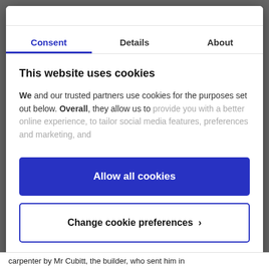Consent | Details | About
This website uses cookies
We and our trusted partners use cookies for the purposes set out below. Overall, they allow us to provide you with a better online experience, to tailor social media features, preferences and marketing, and
Allow all cookies
Change cookie preferences ›
Powered by Cookiebot by Usercentrics
carpenter by Mr Cubitt, the builder, who sent him in